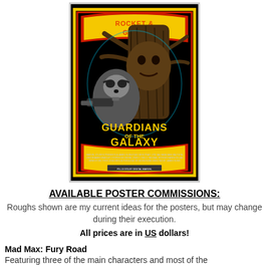[Figure (illustration): Guardians of the Galaxy movie poster featuring Rocket Raccoon and Groot in a retro comic style with colorful typography. Red and yellow bordered black poster with characters and film credits at the bottom.]
AVAILABLE POSTER COMMISSIONS:
Roughs shown are my current ideas for the posters, but may change during their execution.
All prices are in US dollars!
Mad Max: Fury Road
Featuring three of the main characters and most of the